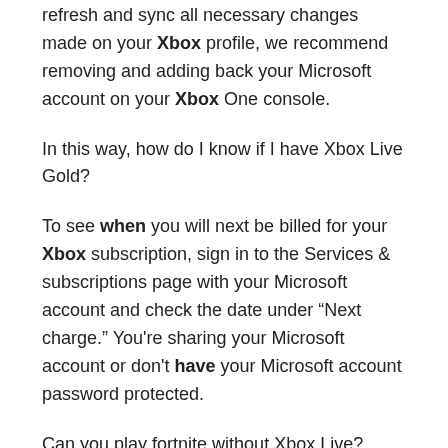refresh and sync all necessary changes made on your Xbox profile, we recommend removing and adding back your Microsoft account on your Xbox One console.
In this way, how do I know if I have Xbox Live Gold?
To see when you will next be billed for your Xbox subscription, sign in to the Services & subscriptions page with your Microsoft account and check the date under “Next charge.” You're sharing your Microsoft account or don't have your Microsoft account password protected.
Can you play fortnite without Xbox Live?
Technically, there isn't a way you can play Fortnite without any Xbox Live Gold subscription, but there is a way to gain access to a subscription without paying for it yourself. Outside of using this home Xbox method, there’s no way you can play Fortnite